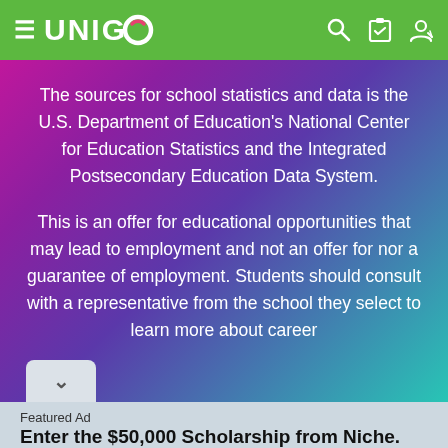UNIGO
The sources for school statistics and data is the U.S. Department of Education's National Center for Education Statistics and the Integrated Postsecondary Education Data System.
This is an offer for educational opportunities that may lead to employment and not an offer for nor a guarantee of employment. Students should consult with a representative from the school they select to learn more about career
Featured Ad
Enter the $50,000 Scholarship from Niche.
Last day to enter is August 31st
APPLY NOW!